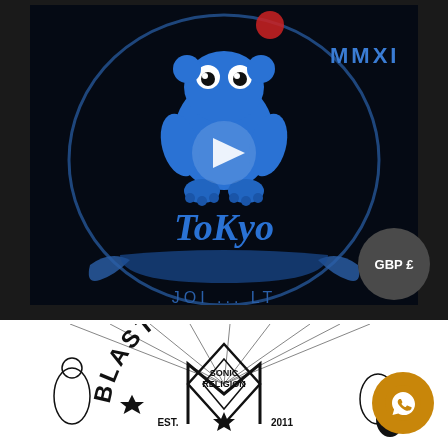[Figure (screenshot): Dark background with blue cartoon hippo/monster figure, text 'ToKyo' in blue script, 'MMXI' top right, play button overlay in center, banner ribbon at bottom with partial text 'JOI...LT', circular GBP £ badge on right]
[Figure (illustration): Black and white Blast Cult logo artwork: circular badge with 'BLAST CULT' text, 'SONIC RELIGION' in center, 'EST. 2011' at bottom, geometric star/diamond shapes, decorative figures on sides, radiating lines, hand with eye symbol]